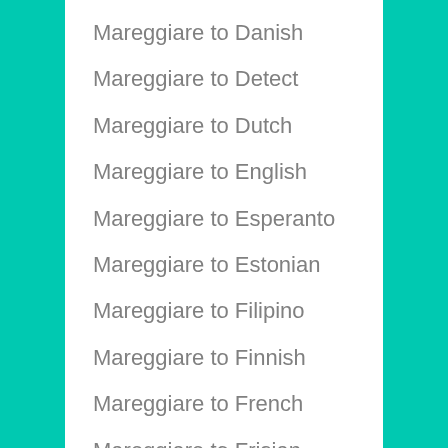Mareggiare to Danish
Mareggiare to Detect
Mareggiare to Dutch
Mareggiare to English
Mareggiare to Esperanto
Mareggiare to Estonian
Mareggiare to Filipino
Mareggiare to Finnish
Mareggiare to French
Mareggiare to Frisian
Mareggiare to Galician
Mareggiare to Georgian
Mareggiare to German
Mareggiare to Greek